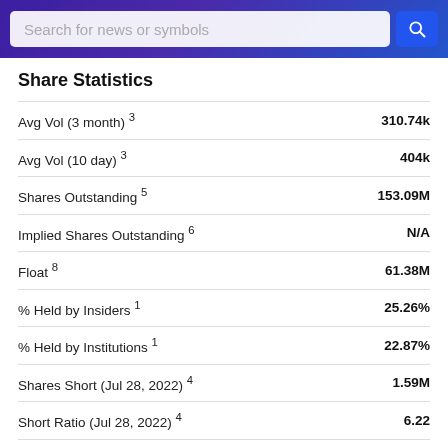Search for news or symbols
Share Statistics
| Metric | Value |
| --- | --- |
| Avg Vol (3 month) 3 | 310.74k |
| Avg Vol (10 day) 3 | 404k |
| Shares Outstanding 5 | 153.09M |
| Implied Shares Outstanding 6 | N/A |
| Float 8 | 61.38M |
| % Held by Insiders 1 | 25.26% |
| % Held by Institutions 1 | 22.87% |
| Shares Short (Jul 28, 2022) 4 | 1.59M |
| Short Ratio (Jul 28, 2022) 4 | 6.22 |
| Short % of Float (Jul 28, 2022) 4 | N/A |